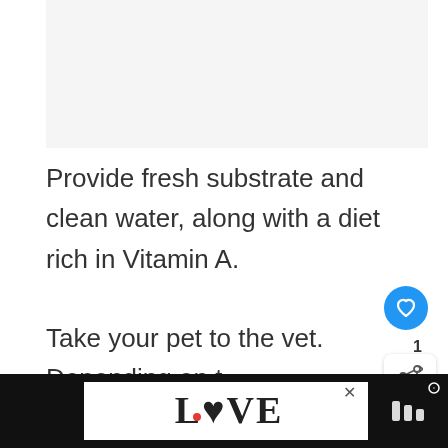[Figure (other): Light gray placeholder/advertisement area at top of page]
Provide fresh substrate and clean water, along with a diet rich in Vitamin A.
Take your pet to the vet. Depending on the severity of the infection it may be intravenous or topical antibiotics to help fi...
[Figure (other): UI overlay: heart/like button (blue circle), share count '1', share button]
[Figure (other): WHAT'S NEXT panel with Sulcata Tortoise article thumbnail]
[Figure (other): Bottom advertisement banner with LOVE text art logo on dark background]